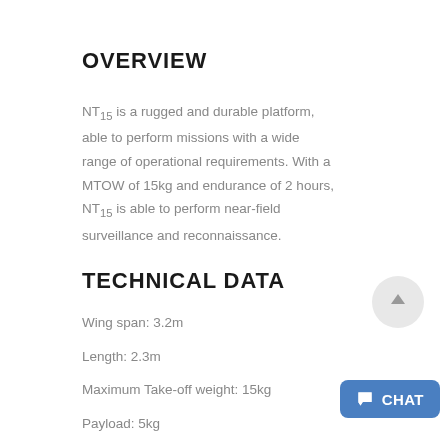OVERVIEW
NT15 is a rugged and durable platform, able to perform missions with a wide range of operational requirements. With a MTOW of 15kg and endurance of 2 hours, NT15 is able to perform near-field surveillance and reconnaissance.
TECHNICAL DATA
Wing span: 3.2m
Length: 2.3m
Maximum Take-off weight: 15kg
Payload: 5kg
Endurance: 2h
Range: 50km